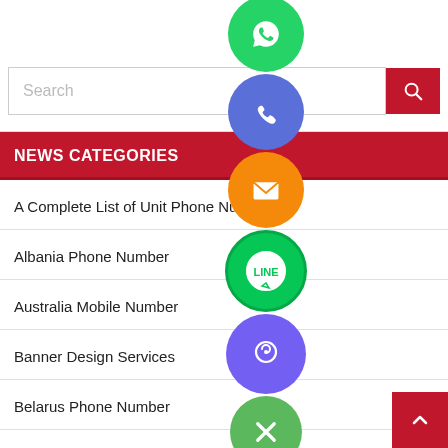[Figure (screenshot): Website sidebar with search bar, news categories section, and list of category links. Overlaid floating social media icons (WhatsApp, Phone, Email, LINE, Viber, close button).]
Search
NEWS CATEGORIES
A Complete List of Unit Phone Numbers
Albania Phone Number
Australia Mobile Number
Banner Design Services
Belarus Phone Number